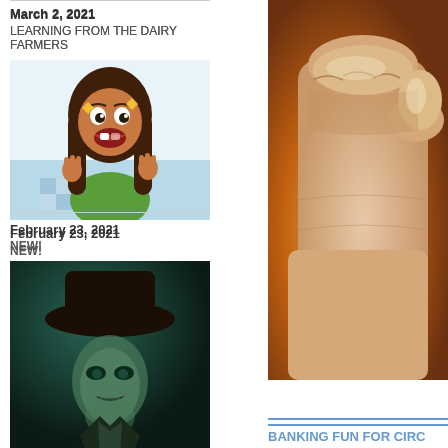March 2, 2021
LEARNING FROM THE DAIRY FARMERS
[Figure (illustration): Cartoon illustration of a young girl with dark hair, wide eyes, and open mouth, wearing a green top, hands raised in excitement, with a light blue background]
February 23, 2021
NEW!
[Figure (illustration): Dark artistic portrait painting of a man wearing a hat, with dramatic lighting in teal/green tones]
[Figure (photo): Close-up photo of a hand making a fist against a warm orange/amber glowing background]
BANKING FUN FOR CIRC…